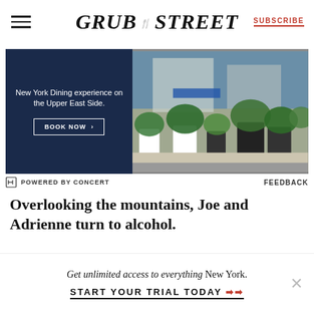GRUB STREET | SUBSCRIBE
[Figure (photo): Advertisement banner: dark navy blue left panel with text 'New York Dining experience on the Upper East Side.' and a 'BOOK NOW >' button; right panel shows a street-level photo of a restaurant exterior with lush green plants and planters on the sidewalk.]
POWERED BY CONCERT   FEEDBACK
Overlooking the mountains, Joe and Adrienne turn to alcohol.
[Figure (photo): Partial photo of two people inside a modern interior space with large windows overlooking mountains/cityscape, dimly lit.]
Get unlimited access to everything New York.
START YOUR TRIAL TODAY